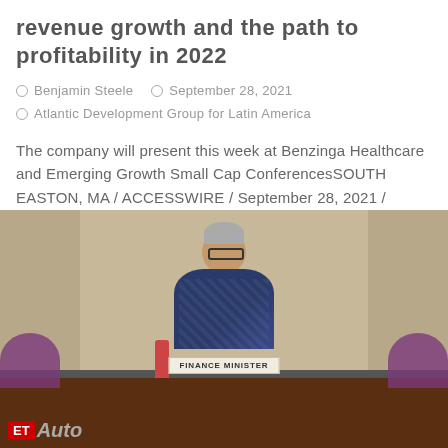revenue growth and the path to profitability in 2022
Benjamin Steele   September 28, 2021
Atlantic Development Group for Latin America
The company will present this week at Benzinga Healthcare and Emerging Growth Small Cap ConferencesSOUTH EASTON, MA / ACCESSWIRE / September 28, 2021 / Pressure BioSciences, Inc. (OTCQB: PBIO) (â€...
[Figure (photo): A woman seated at a wooden desk with a nameplate reading 'FINANCE MINISTER', flanked by purple flower arrangements. An ET Auto watermark/logo appears in the bottom-left corner of the image.]